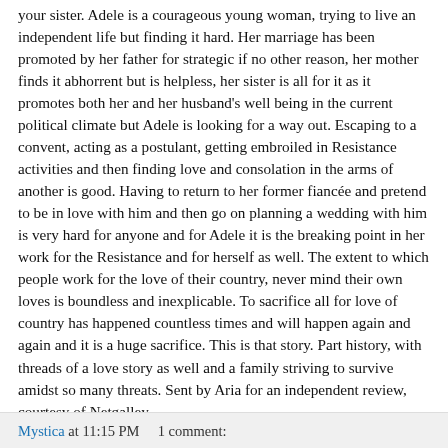your sister. Adele is a courageous young woman, trying to live an independent life but finding it hard. Her marriage has been promoted by her father for strategic if no other reason, her mother finds it abhorrent but is helpless, her sister is all for it as it promotes both her and her husband's well being in the current political climate but Adele is looking for a way out. Escaping to a convent, acting as a postulant, getting embroiled in Resistance activities and then finding love and consolation in the arms of another is good. Having to return to her former fiancée and pretend to be in love with him and then go on planning a wedding with him is very hard for anyone and for Adele it is the breaking point in her work for the Resistance and for herself as well. The extent to which people work for the love of their country, never mind their own loves is boundless and inexplicable. To sacrifice all for love of country has happened countless times and will happen again and again and it is a huge sacrifice. This is that story. Part history, with threads of a love story as well and a family striving to survive amidst so many threats. Sent by Aria for an independent review, courtesy of Netgalley.
Mystica at 11:15 PM    1 comment: